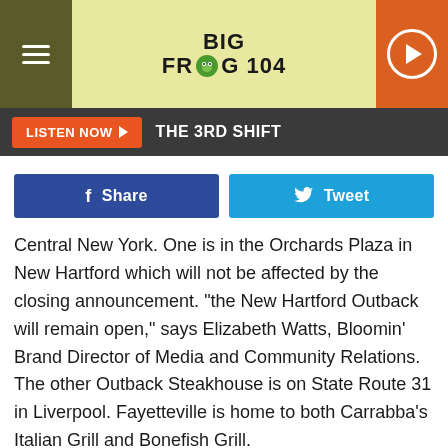[Figure (logo): Big Frog 104 radio station logo with hamburger menu icon, yellow background, and orange play button]
LISTEN NOW ▶   THE 3RD SHIFT
[Figure (infographic): Facebook Share button and Twitter Tweet button]
Central New York. One is in the Orchards Plaza in New Hartford which will not be affected by the closing announcement. "the New Hartford Outback will remain open," says Elizabeth Watts, Bloomin' Brand Director of Media and Community Relations. The other Outback Steakhouse is on State Route 31 in Liverpool. Fayetteville is home to both Carrabba's Italian Grill and Bonefish Grill.
While 43 of the 1,500 restaurants will close, 115 others will start offering delivery services over the next 3 months.
No word on which locations will be closings. If New Hartford